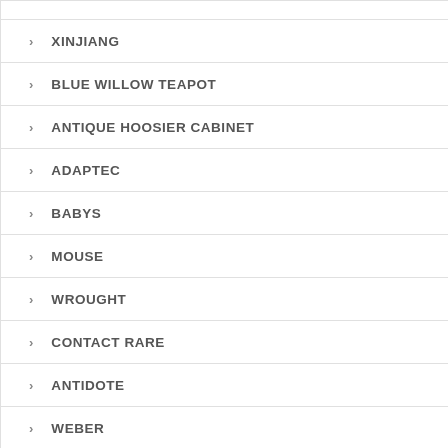XINJIANG
BLUE WILLOW TEAPOT
ANTIQUE HOOSIER CABINET
ADAPTEC
BABYS
MOUSE
WROUGHT
CONTACT RARE
ANTIDOTE
WEBER